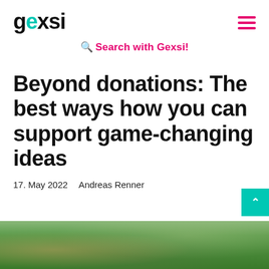gexsi
Search with Gexsi!
Beyond donations: The best ways how you can support game-changing ideas
17. May 2022    Andreas Renner
[Figure (photo): A close-up photo of hands outdoors with a green blurred background, partially visible at the bottom of the page.]